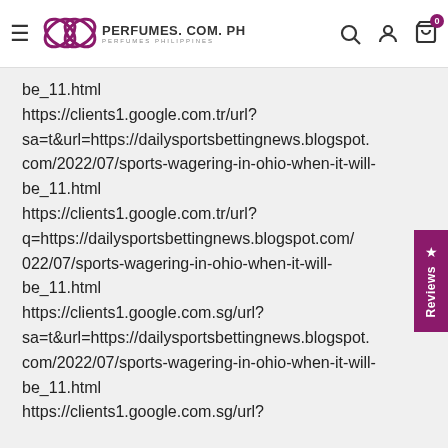PERFUMES.COM.PH
be_11.html https://clients1.google.com.tr/url?sa=t&url=https://dailysportsbettingnews.blogspot.com/2022/07/sports-wagering-in-ohio-when-it-will-be_11.html https://clients1.google.com.tr/url?q=https://dailysportsbettingnews.blogspot.com/2022/07/sports-wagering-in-ohio-when-it-will-be_11.html https://clients1.google.com.sg/url?sa=t&url=https://dailysportsbettingnews.blogspot.com/2022/07/sports-wagering-in-ohio-when-it-will-be_11.html https://clients1.google.com.sg/url?